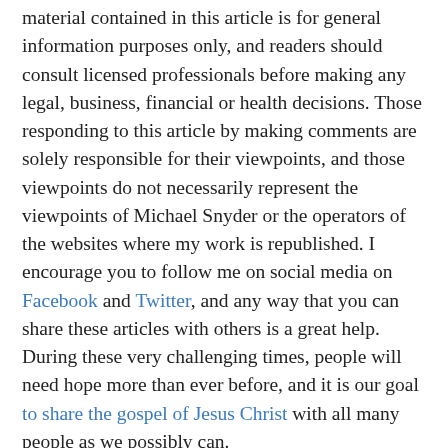material contained in this article is for general information purposes only, and readers should consult licensed professionals before making any legal, business, financial or health decisions. Those responding to this article by making comments are solely responsible for their viewpoints, and those viewpoints do not necessarily represent the viewpoints of Michael Snyder or the operators of the websites where my work is republished. I encourage you to follow me on social media on Facebook and Twitter, and any way that you can share these articles with others is a great help.  During these very challenging times, people will need hope more than ever before, and it is our goal to share the gospel of Jesus Christ with all many people as we possibly can.